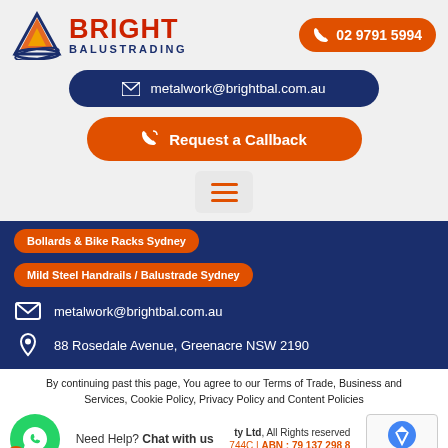[Figure (logo): Bright Balustrading logo with triangle icon and text]
02 9791 5994
metalwork@brightbal.com.au
Request a Callback
[Figure (other): Hamburger menu icon with three orange horizontal lines]
Bollards & Bike Racks Sydney
Mild Steel Handrails / Balustrade Sydney
metalwork@brightbal.com.au
88 Rosedale Avenue, Greenacre NSW 2190
By continuing past this page, You agree to our Terms of Trade, Business and Services, Cookie Policy, Privacy Policy and Content Policies
ty Ltd, All Rights reserved
Need Help? Chat with us
744C | ABN : 79 137 298 8
261741